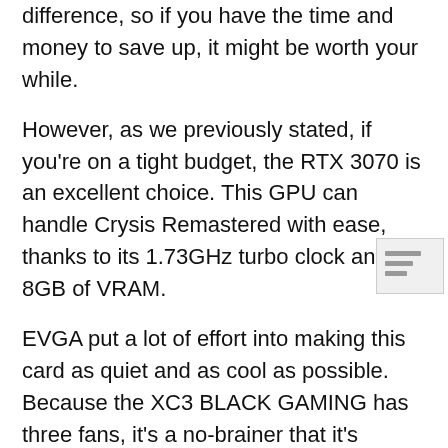difference, so if you have the time and money to save up, it might be worth your while.
However, as we previously stated, if you're on a tight budget, the RTX 3070 is an excellent choice. This GPU can handle Crysis Remastered with ease, thanks to its 1.73GHz turbo clock and 8GB of VRAM.
EVGA put a lot of effort into making this card as quiet and as cool as possible. Because the XC3 BLACK GAMING has three fans, it's a no-brainer that it's quieter and more efficient.
But it's not over yet. With the addition of airflow pockets to the card's thermal contact surface,